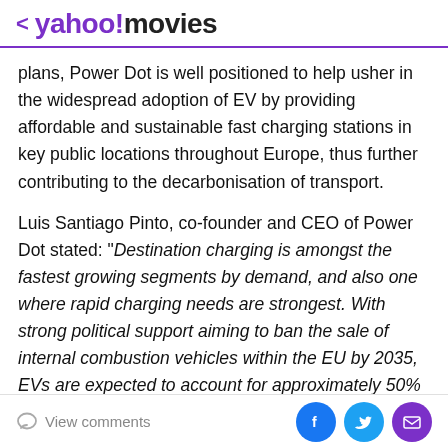< yahoo!movies
plans, Power Dot is well positioned to help usher in the widespread adoption of EV by providing affordable and sustainable fast charging stations in key public locations throughout Europe, thus further contributing to the decarbonisation of transport.
Luis Santiago Pinto, co-founder and CEO of Power Dot stated: "Destination charging is amongst the fastest growing segments by demand, and also one where rapid charging needs are strongest. With strong political support aiming to ban the sale of internal combustion vehicles within the EU by 2035, EVs are expected to account for approximately 50% of passenger car
View comments